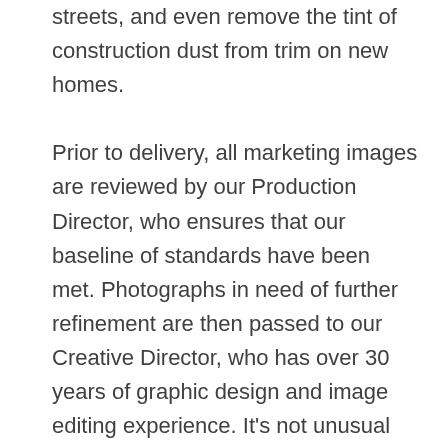streets, and even remove the tint of construction dust from trim on new homes.

Prior to delivery, all marketing images are reviewed by our Production Director, who ensures that our baseline of standards have been met. Photographs in need of further refinement are then passed to our Creative Director, who has over 30 years of graphic design and image editing experience. It's not unusual for your images to quickly pass through 5